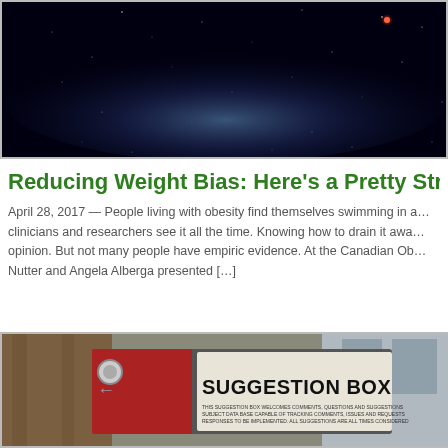[Figure (photo): Dark space/galaxy image with stars and glowing blue nebula, small red object visible in upper right area]
Reducing Weight Bias: Here’s a Pretty Stron…
April 28, 2017 — People living with obesity find themselves swimming in a… clinicians and researchers see it all the time. Knowing how to drain it awa… opinion. But not many people have empiric evidence. At the Canadian Ob… Nutter and Angela Alberga presented […]
[Figure (photo): Photo of a Suggestion Box sign on what appears to be a wooden post or wall, with smaller text below the main heading]